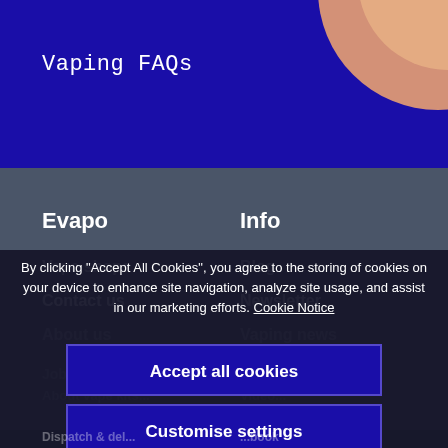Vaping FAQs
Evapo
Info
Vape shops
Contact us
About us
Blog
Newsletter
Vaping news
By clicking "Accept All Cookies", you agree to the storing of cookies on your device to enhance site navigation, analyze site usage, and assist in our marketing efforts. Cookie Notice
Accept all cookies
Customise settings